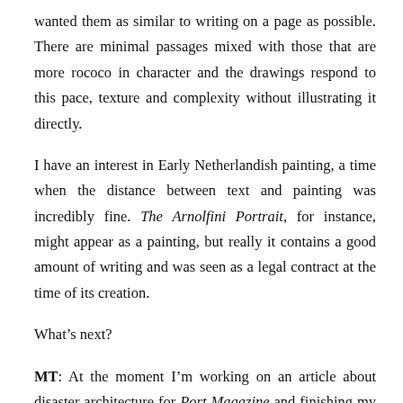wanted them as similar to writing on a page as possible. There are minimal passages mixed with those that are more rococo in character and the drawings respond to this pace, texture and complexity without illustrating it directly.
I have an interest in Early Netherlandish painting, a time when the distance between text and painting was incredibly fine. The Arnolfini Portrait, for instance, might appear as a painting, but really it contains a good amount of writing and was seen as a legal contract at the time of its creation.
What’s next?
MT: At the moment I’m working on an article about disaster architecture for Port Magazine and finishing my short story collection, which doesn’t have a publisher yet.